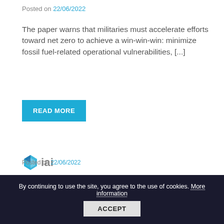Posted on 22/06/2022
The paper warns that militaries must accelerate efforts toward net zero to achieve a win-win-win: minimize fossil fuel-related operational vulnerabilities, [...]
READ MORE
[Figure (logo): IAI logo - a blue geometric cube/diamond shape followed by 'iai' text in grey]
“Eastern Mediterranean Energy Resources between Energy Security and Energy Transition”, Pier Paolo Raimondi (IAI, Italy)//
Posted on 22/06/2022
By continuing to use the site, you agree to the use of cookies. More information  ACCEPT